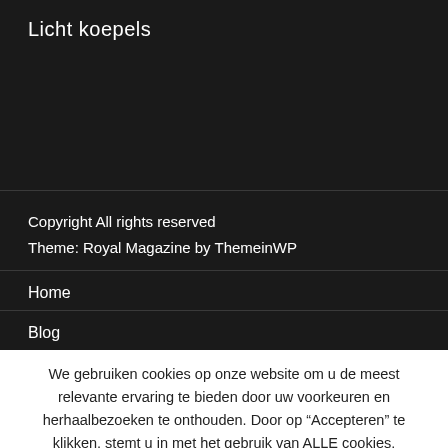Licht koepels
Copyright All rights reserved
Theme: Royal Magazine by ThemeinWP
Home
Blog
We gebruiken cookies op onze website om u de meest relevante ervaring te bieden door uw voorkeuren en herhaalbezoeken te onthouden. Door op “Accepteren” te klikken, stemt u in met het gebruik van ALLE cookies.
Cookie instellingen   ACCEPTEREN